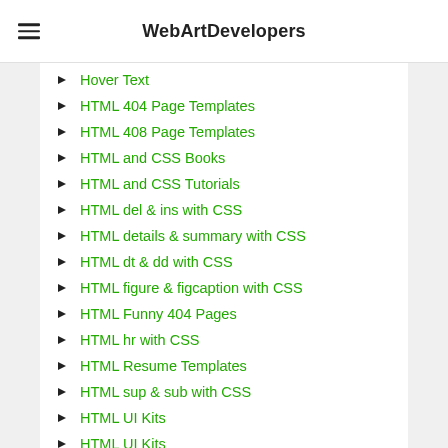WebArtDevelopers
Hover Text
HTML 404 Page Templates
HTML 408 Page Templates
HTML and CSS Books
HTML and CSS Tutorials
HTML del & ins with CSS
HTML details & summary with CSS
HTML dt & dd with CSS
HTML figure & figcaption with CSS
HTML Funny 404 Pages
HTML hr with CSS
HTML Resume Templates
HTML sup & sub with CSS
HTML UI Kits
HTML UI Kits